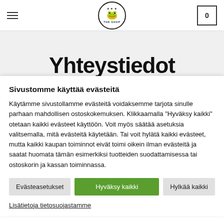THE SHOP — navigation header with hamburger menu, logo, and cart button (0)
Yhteystiedot
Sivustomme käyttää evästeitä
Käytämme sivustollamme evästeitä voidaksemme tarjota sinulle parhaan mahdollisen ostoskokemuksen. Klikkaamalla "Hyväksy kaikki" otetaan kaikki evästeet käyttöön. Voit myös säätää asetuksia valitsemalla, mitä evästeitä käytetään. Tai voit hylätä kaikki evästeet, mutta kaikki kaupan toiminnot eivät toimi oikein ilman evästeitä ja saatat huomata tämän esimerkiksi tuotteiden suodattamisessa tai ostoskorin ja kassan toiminnassa.
Evästeasetukset | Hyväksy kaikki | Hylkää kaikki
Lisätietoja tietosuojastamme